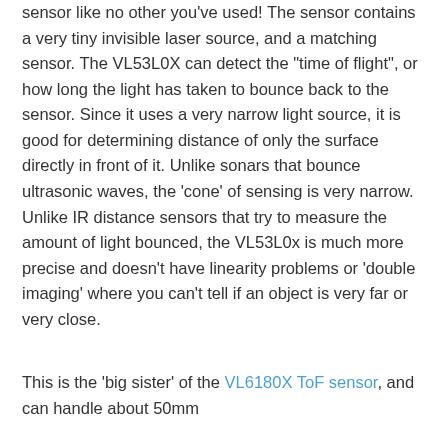sensor like no other you've used! The sensor contains a very tiny invisible laser source, and a matching sensor. The VL53L0X can detect the "time of flight", or how long the light has taken to bounce back to the sensor. Since it uses a very narrow light source, it is good for determining distance of only the surface directly in front of it. Unlike sonars that bounce ultrasonic waves, the 'cone' of sensing is very narrow. Unlike IR distance sensors that try to measure the amount of light bounced, the VL53L0x is much more precise and doesn't have linearity problems or 'double imaging' where you can't tell if an object is very far or very close.
This is the 'big sister' of the VL6180X ToF sensor, and can handle about 50mm